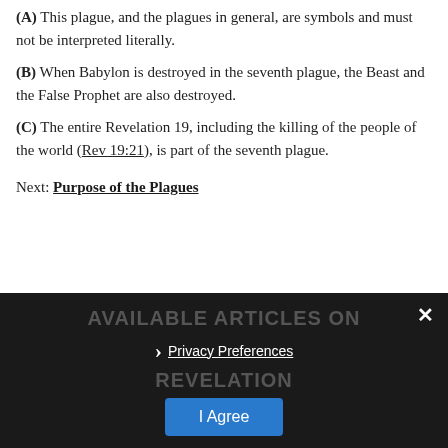(A) This plague, and the plagues in general, are symbols and must not be interpreted literally.
(B) When Babylon is destroyed in the seventh plague, the Beast and the False Prophet are also destroyed.
(C) The entire Revelation 19, including the killing of the people of the world (Rev 19:21), is part of the seventh plague.
Next: Purpose of the Plagues
AVAILABLE ARTICLES ON REVELATION
Privacy Preferences
I Agree